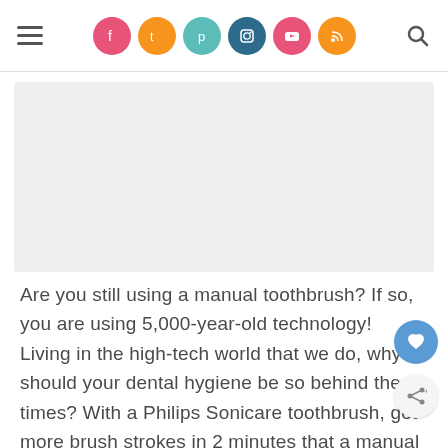Navigation header with hamburger menu, social icons (Facebook, Twitter, Pinterest, Instagram, YouTube, RSS), and search icon
[Figure (other): Gray advertisement placeholder banner]
Are you still using a manual toothbrush? If so, you are using 5,000-year-old technology! Living in the high-tech world that we do, why should your dental hygiene be so behind the times? With a Philips Sonicare toothbrush, get more brush strokes in 2 minutes that a manual